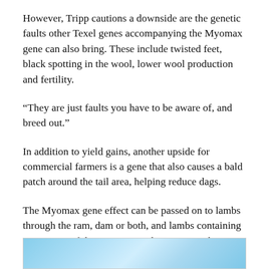However, Tripp cautions a downside are the genetic faults other Texel genes accompanying the Myomax gene can also bring. These include twisted feet, black spotting in the wool, lower wool production and fertility.
“They are just faults you have to be aware of, and breed out.”
In addition to yield gains, another upside for commercial farmers is a gene that also causes a bald patch around the tail area, helping reduce dags.
The Myomax gene effect can be passed on to lambs through the ram, dam or both, and lambs containing two copies of the mutation in the DNA are shown to be even more likely to benefit from higher yields.
[Figure (photo): Partial photo visible at the bottom of the page, showing what appears to be a sky-blue blurred outdoor scene, possibly sheep or a farm setting.]